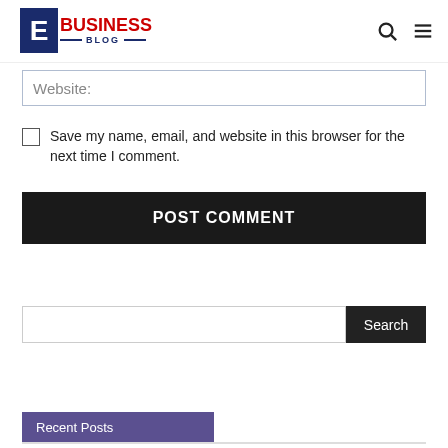[Figure (logo): E Business Blog logo with blue E box and red BUSINESS text]
Website:
Save my name, email, and website in this browser for the next time I comment.
POST COMMENT
Search
Recent Posts